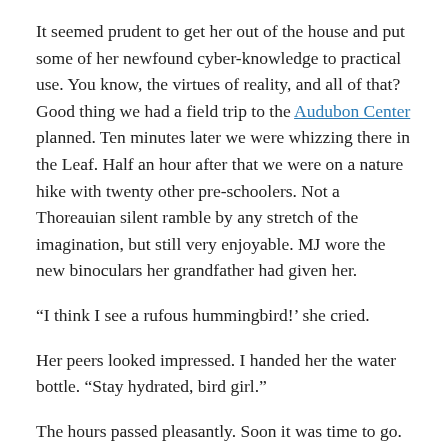It seemed prudent to get her out of the house and put some of her newfound cyber-knowledge to practical use. You know, the virtues of reality, and all of that? Good thing we had a field trip to the Audubon Center planned. Ten minutes later we were whizzing there in the Leaf. Half an hour after that we were on a nature hike with twenty other pre-schoolers. Not a Thoreauian silent ramble by any stretch of the imagination, but still very enjoyable. MJ wore the new binoculars her grandfather had given her.
“I think I see a rufous hummingbird!’ she cried.
Her peers looked impressed. I handed her the water bottle. “Stay hydrated, bird girl.”
The hours passed pleasantly. Soon it was time to go. On our way out we passed through the Center’s tiny gift shop. There MJ spotted a rack of stuffed birds–the kind that make a “genuine” sound when you squeeze them. Fondling a blue